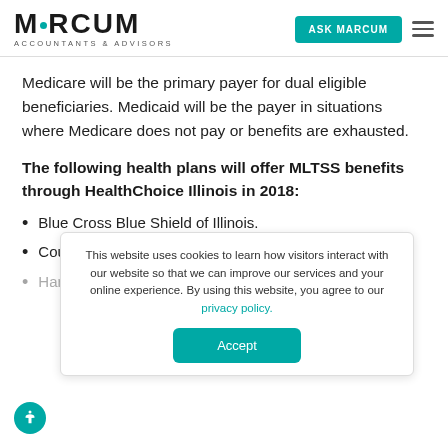MARCUM ACCOUNTANTS & ADVISORS | ASK MARCUM
Medicare will be the primary payer for dual eligible beneficiaries. Medicaid will be the payer in situations where Medicare does not pay or benefits are exhausted.
The following health plans will offer MLTSS benefits through HealthChoice Illinois in 2018:
Blue Cross Blue Shield of Illinois.
CountyCare (available only in Cook County).
Harmony Health Plan
This website uses cookies to learn how visitors interact with our website so that we can improve our services and your online experience. By using this website, you agree to our privacy policy.